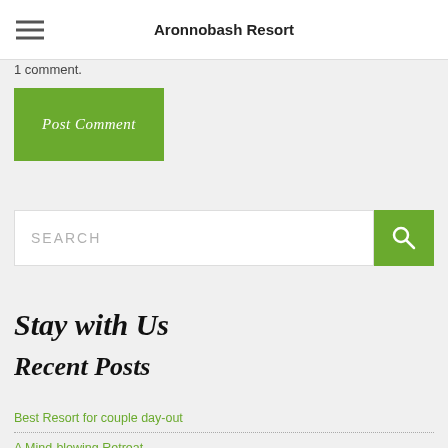Aronnobash Resort
1 comment.
Post Comment
SEARCH
Stay with Us
Recent Posts
Best Resort for couple day-out
A Mind-blowing Retreat